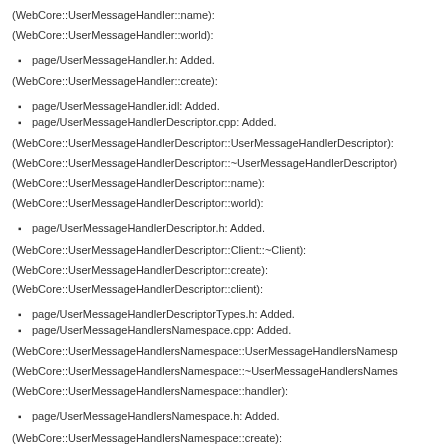(WebCore::UserMessageHandler::name):
(WebCore::UserMessageHandler::world):
page/UserMessageHandler.h: Added.
(WebCore::UserMessageHandler::create):
page/UserMessageHandler.idl: Added.
page/UserMessageHandlerDescriptor.cpp: Added.
(WebCore::UserMessageHandlerDescriptor::UserMessageHandlerDescriptor):
(WebCore::UserMessageHandlerDescriptor::~UserMessageHandlerDescriptor):
(WebCore::UserMessageHandlerDescriptor::name):
(WebCore::UserMessageHandlerDescriptor::world):
page/UserMessageHandlerDescriptor.h: Added.
(WebCore::UserMessageHandlerDescriptor::Client::~Client):
(WebCore::UserMessageHandlerDescriptor::create):
(WebCore::UserMessageHandlerDescriptor::client):
page/UserMessageHandlerDescriptorTypes.h: Added.
page/UserMessageHandlersNamespace.cpp: Added.
(WebCore::UserMessageHandlersNamespace::UserMessageHandlersNamesp...
(WebCore::UserMessageHandlersNamespace::~UserMessageHandlersNames...
(WebCore::UserMessageHandlersNamespace::handler):
page/UserMessageHandlersNamespace.h: Added.
(WebCore::UserMessageHandlersNamespace::create):